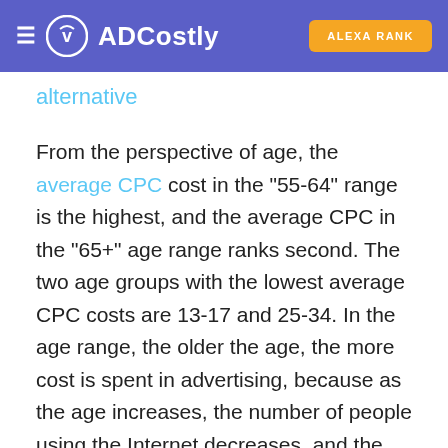ADCostly | ALEXA RANK
alternative
From the perspective of age, the average CPC cost in the "55-64" range is the highest, and the average CPC in the "65+" age range ranks second. The two age groups with the lowest average CPC costs are 13-17 and 25-34. In the age range, the older the age, the more cost is spent in advertising, because as the age increases, the number of people using the Internet decreases, and the advertising costs are higher.